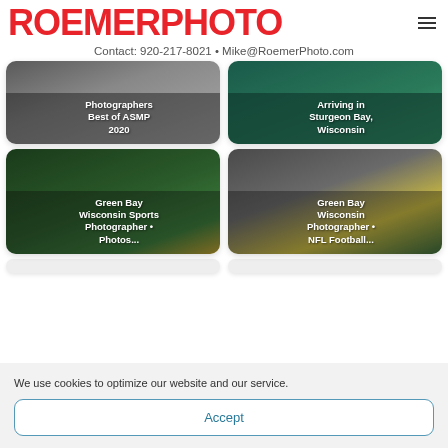ROEMERPHOTO
Contact: 920-217-8021 • Mike@RoemerPhoto.com
[Figure (photo): Grid card: Photographers Best of ASMP 2020]
[Figure (photo): Grid card: Arriving in Sturgeon Bay, Wisconsin]
[Figure (photo): Grid card: Green Bay Wisconsin Sports Photographer • Photos...]
[Figure (photo): Grid card: Green Bay Wisconsin Photographer • NFL Football...]
We use cookies to optimize our website and our service.
Accept